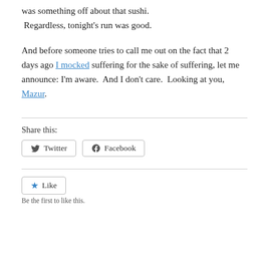was something off about that sushi. Regardless, tonight's run was good.
And before someone tries to call me out on the fact that 2 days ago I mocked suffering for the sake of suffering, let me announce: I'm aware.  And I don't care.  Looking at you, Mazur.
Share this:
[Figure (other): Twitter and Facebook share buttons]
[Figure (other): Like button with star icon]
Be the first to like this.